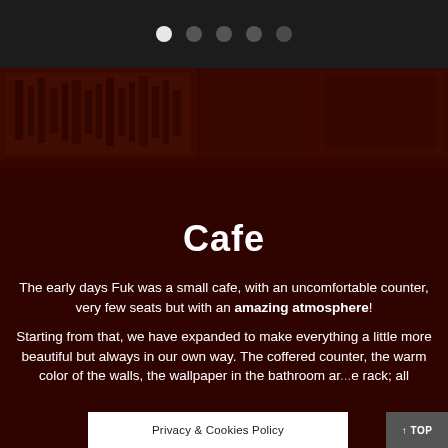• • • • •
[Figure (photo): Dark atmospheric bar/cafe interior showing bottles on shelves, warm dim lighting, mosaic of photos]
Cafe
The early days Fuk was a small cafe, with an uncomfortable counter, very few seats but with an amazing atmosphere!
Starting from that, we have expanded to make everything a little more beautiful but always in our own way. The coffered counter, the warm color of the walls, the wallpaper in the bathroom ar... e rack; all
Privacy & Cookies Policy
↑ TOP